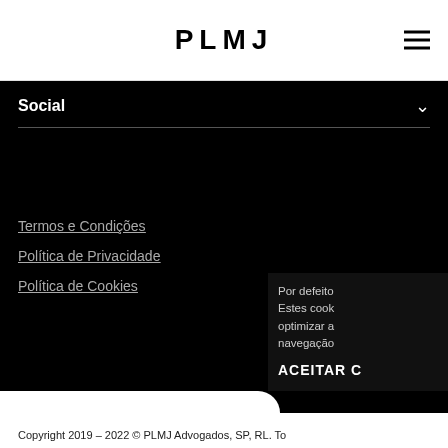PLMJ
Social
Termos e Condições
Política de Privacidade
Política de Cookies
Por defeito Estes cook optimizar a navegação
ACEITAR C
Copyright 2019 - 2022 © PLMJ Advogados, SP, RL. To direitos reservados. Design by Wingman. Developed